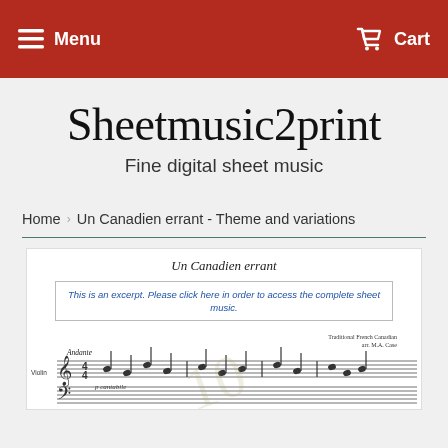Menu    Cart
Sheetmusic2print
Fine digital sheet music
Home › Un Canadien errant - Theme and variations
[Figure (other): Preview of sheet music for 'Un Canadien errant' showing musical notation excerpt with text 'This is an excerpt. Please click here in order to access the complete sheet music.' in a bordered box, and musical staff with notes below labeled 'Andante', 'Violin', 'Traditional French Canadian arr. M.A. Case']